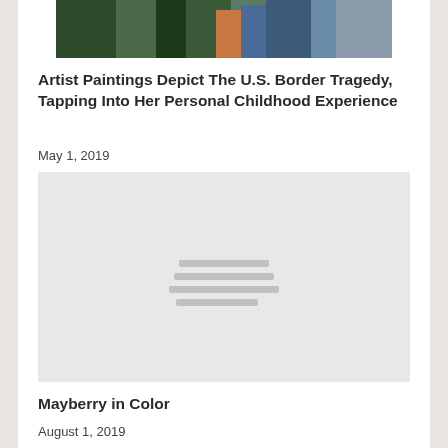[Figure (photo): Bottom portion of a painting showing figures, with dark greens, browns, blues and orange/teal colors]
Artist Paintings Depict The U.S. Border Tragedy, Tapping Into Her Personal Childhood Experience
May 1, 2019
[Figure (other): Light gray placeholder image with four horizontal lines centered, indicating an unloaded image]
Mayberry in Color
August 1, 2019